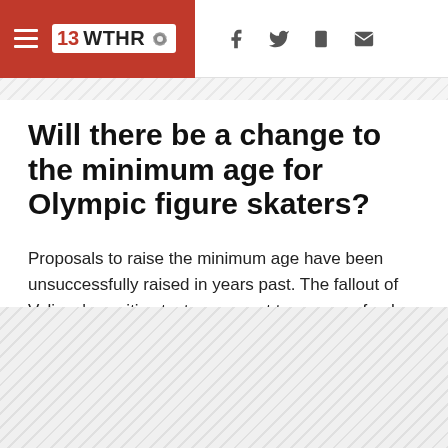13 WTHR
Will there be a change to the minimum age for Olympic figure skaters?
Proposals to raise the minimum age have been unsuccessfully raised in years past. The fallout of Valieva's positive test seems set to spawn a fresh round of debate on the subject.